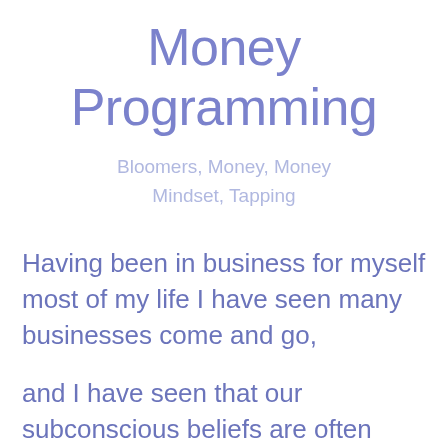Money Programming
Bloomers, Money, Money Mindset, Tapping
Having been in business for myself most of my life I have seen many businesses come and go,
and I have seen that our subconscious beliefs are often